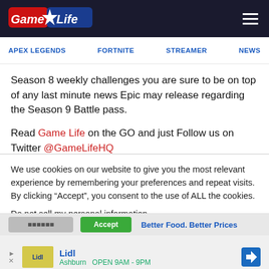GameLife
APEX LEGENDS   FORTNITE   STREAMER   NEWS
Season 8 weekly challenges you are sure to be on top of any last minute news Epic may release regarding the Season 9 Battle pass.
Read Game Life on the GO and just Follow us on Twitter @GameLifeHQ
We use cookies on our website to give you the most relevant experience by remembering your preferences and repeat visits. By clicking “Accept”, you consent to the use of ALL the cookies.
Do not sell my personal information.
[Figure (screenshot): Ad banner for Lidl showing logo image, brand name in blue, and navigation arrow icon. Above: cookie consent buttons (reject/accept) and partial ad text 'Better Food. Better Prices'. Below brand name: Ashburn OPEN 9AM–9PM in green.]